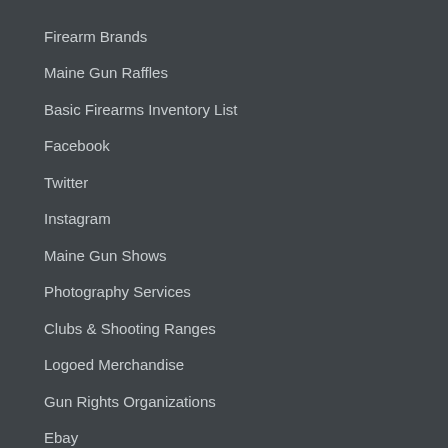Firearm Brands
Maine Gun Raffles
Basic Firearms Inventory List
Facebook
Twitter
Instagram
Maine Gun Shows
Photography Services
Clubs & Shooting Ranges
Logoed Merchandise
Gun Rights Organizations
Ebay
Gun Broker Auctions
YouTube Channel
FAQ
Terms